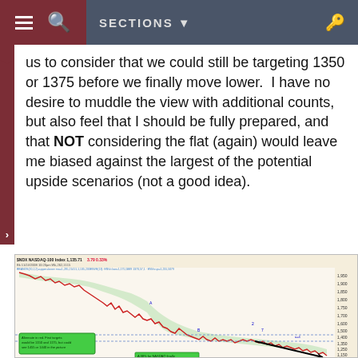SECTIONS
us to consider that we could still be targeting 1350 or 1375 before we finally move lower.  I have no desire to muddle the view with additional counts, but also feel that I should be fully prepared, and that NOT considering the flat (again) would leave me biased against the largest of the potential upside scenarios (not a good idea).
[Figure (continuous-plot): NASDAQ-100 Index chart showing price action from approximately 2008, with Bollinger Bands (green shading), Elliott Wave counts labeled, horizontal support/resistance lines around 1350-1400, and a green annotation box reading 'Alternate in red. First targets would be 1150 and 1175, but could see 1455 or 1440 in the picture'. Price range shown approximately 1130-1950. A black arrow points toward lower right. Another annotation at bottom reads 'A 38% for NASDAQ finally'.]